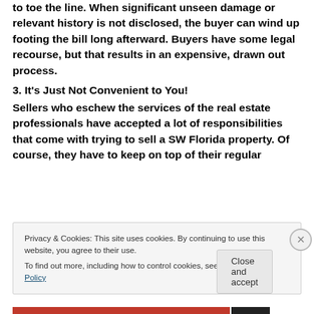requirements still fall today (or 1023 fall today) fail to toe the line. When significant unseen damage or relevant history is not disclosed, the buyer can wind up footing the bill long afterward. Buyers have some legal recourse, but that results in an expensive, drawn out process.
3. It's Just Not Convenient to You!
Sellers who eschew the services of the real estate professionals have accepted a lot of responsibilities that come with trying to sell a SW Florida property. Of course, they have to keep on top of their regular
Privacy & Cookies: This site uses cookies. By continuing to use this website, you agree to their use.
To find out more, including how to control cookies, see here: Cookie Policy